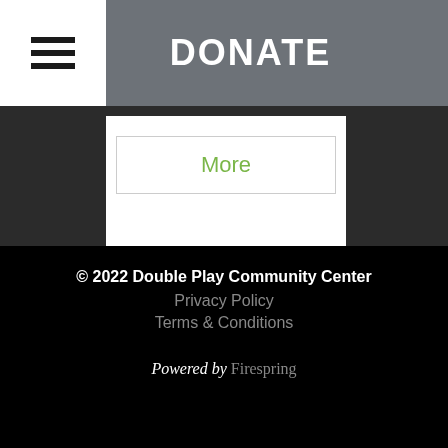DONATE
[Figure (logo): Powered by mindbody business logo with circle icon]
More
© 2022 Double Play Community Center
Privacy Policy
Terms & Conditions
Powered by Firespring